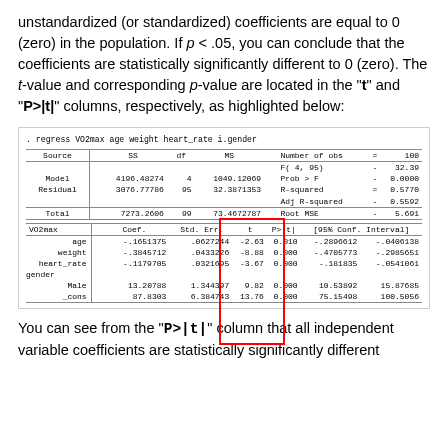unstandardized (or standardized) coefficients are equal to 0 (zero) in the population. If p < .05, you can conclude that the coefficients are statistically significantly different to 0 (zero). The t-value and corresponding p-value are located in the "t" and "P>|t|" columns, respectively, as highlighted below:
[Figure (screenshot): Stata regression output table for 'regress VO2max age weight heart_rate i.gender' showing ANOVA table (Model, Residual, Total), fit statistics (N=100, F=32.39, R-squared=0.5770), and coefficient table with columns VO2max, Coef., Std. Err., t, P>|t|, [95% Conf. Interval]. The t and P>|t| columns are highlighted with a red box. Rows: age (-.1651375, .0627244, -2.63, 0.010, -.2896612, -.0406138), weight (-.3845712, .0433226, -8.88, 0.000, -.4705773, -.2985651), heart_rate (-.1179705, .0321695, -3.67, 0.000, -.181835, -.0541061), 1.gender Male (13.20788, 1.344397, 9.82, 0.000, 10.53892, 15.87685), _cons (87.8303, 6.384743, 13.76, 0.000, 75.15498, 100.5056).]
You can see from the "P>|t|" column that all independent variable coefficients are statistically significantly different